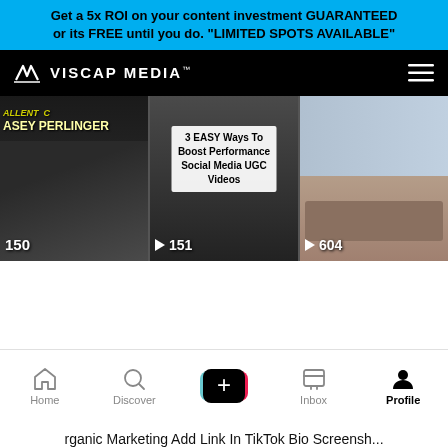Get a 5x ROI on your content investment GUARANTEED or its FREE until you do. "LIMITED SPOTS AVAILABLE"
[Figure (screenshot): Viscap Media website navigation bar with logo on black background and hamburger menu icon]
[Figure (screenshot): Three video thumbnails: Casey Perlinger video with 150 views, '3 EASY Ways To Boost Performance Social Media UGC Videos' with 151 views, and a third video with 604 views]
[Figure (screenshot): TikTok bottom navigation bar with Home, Discover, plus button, Inbox, and Profile (active) tabs]
rganic Marketing Add Link In TikTok Bio Screenshot Step 1